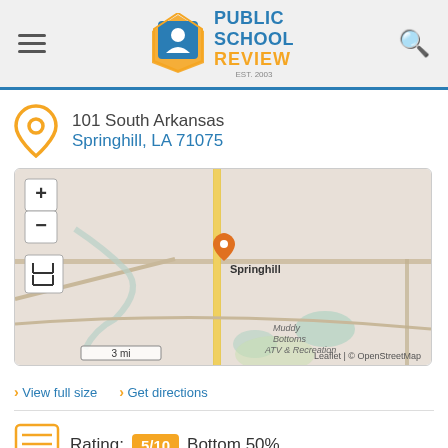Public School Review EST. 2003
101 South Arkansas Springhill, LA 71075
[Figure (map): Interactive map showing location of school in Springhill, LA with zoom controls, expand button, scale bar (3 mi), and OpenStreetMap attribution. Orange location pin labeled 'Springhill' is visible at approximate center.]
> View full size  > Get directions
Rating: 5/10 Bottom 50%